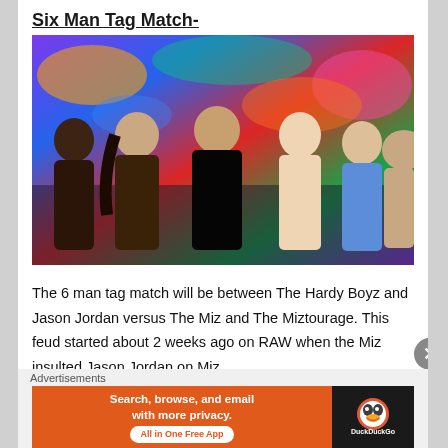Six Man Tag Match-
[Figure (photo): Six WWE wrestlers posed in front of a colorful graffiti wall: three on the left (The Hardy Boyz and Jason Jordan) versus The Miz and The Miztourage on the right.]
The 6 man tag match will be between The Hardy Boyz and Jason Jordan versus The Miz and The Miztourage. This feud started about 2 weeks ago on RAW when the Miz insulted Jason Jordan on Miz
Advertisements
[Figure (screenshot): DuckDuckGo advertisement banner: orange background with text 'Search, browse, and email with more privacy. All in One Free App' and DuckDuckGo logo on black background.]